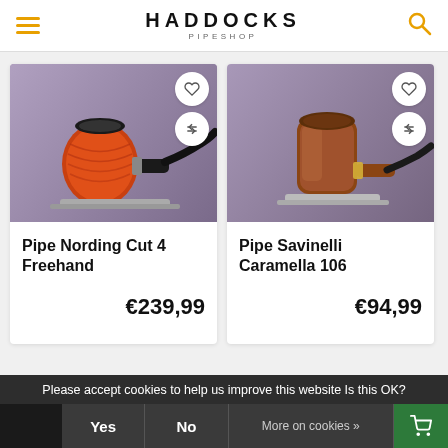HADDOCKS PIPESHOP
[Figure (photo): Product photo of Pipe Nording Cut 4 Freehand - a red/orange briar pipe on a metal stand against purple background]
Pipe Nording Cut 4 Freehand
€239,99
[Figure (photo): Product photo of Pipe Savinelli Caramella 106 - a smooth brown billiard pipe on a metal stand against purple background]
Pipe Savinelli Caramella 106
€94,99
Please accept cookies to help us improve this website Is this OK?
Yes
No
More on cookies »